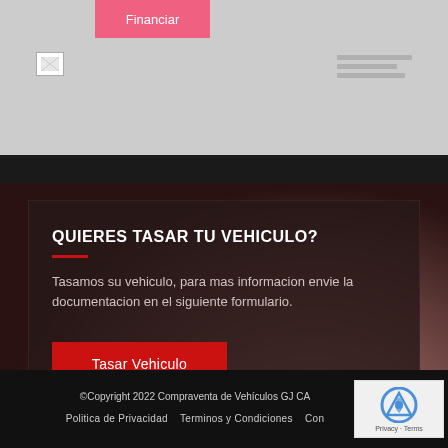[Figure (screenshot): Top section of a car dealership website showing a pink/salmon 'Financiar' button, a small thumbnail icon, and grey placeholder lines on a grey background]
QUIERES TASAR TU VEHICULO?
Tasamos su vehiculo, para mas informacion envie la documentacion en el siguiente formulario.
Tasar Vehiculo
©Copyright 2022 Compraventa de Vehículos GJ CA   Politica de Privacidad   Terminos y Condiciones   Con